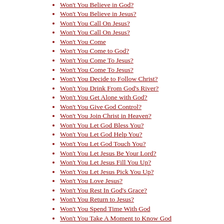Won't You Believe God?
Won't You Believe in God?
Won't You Believe in Jesus?
Won't You Call On Jesus?
Won't You Call On Jesus?
Won't You Come
Won't You Come to God?
Won't You Come To Jesus?
Won't You Come To Jesus?
Won't You Decide to Follow Christ?
Won't You Drink From God's River?
Won't You Get Alone with God?
Won't You Give God Control?
Won't You Join Christ in Heaven?
Won't You Let God Bless You?
Won't You Let God Help You?
Won't You Let God Touch You?
Won't You Let Jesus Be Your Lord?
Won't You Let Jesus Fill You Up?
Won't You Let Jesus Pick You Up?
Won't You Love Jesus?
Won't You Rest In God's Grace?
Won't You Return to Jesus?
Won't You Spend Time With God
Won't You Take A Moment to Know God
Won't You Take Time for God?
Won't You Take Time for Jesus?
Won't You Take Time for Prayer?
Won't You Take Time to Pray?
Won't You Trade Your Ashes for Jesu
Won't You Trust God?